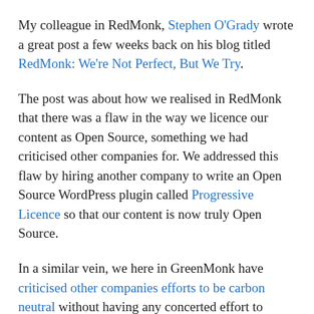My colleague in RedMonk, Stephen O'Grady wrote a great post a few weeks back on his blog titled RedMonk: We're Not Perfect, But We Try.
The post was about how we realised in RedMonk that there was a flaw in the way we licence our content as Open Source, something we had criticised other companies for. We addressed this flaw by hiring another company to write an Open Source WordPress plugin called Progressive Licence so that our content is now truly Open Source.
In a similar vein, we here in GreenMonk have criticised other companies efforts to be carbon neutral without having any concerted effort to become carbon neutral ourselves.
So we have decided to try to make RedMonk a carbon